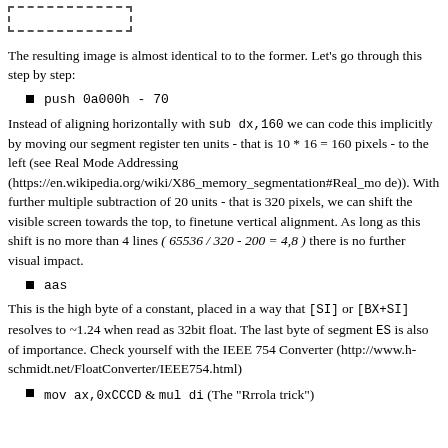[Figure (other): Dashed rectangle outline in top-left corner]
The resulting image is almost identical to to the former. Let's go through this step by step:
push 0a000h - 70
Instead of aligning horizontally with sub dx,160 we can code this implicitly by moving our segment register ten units - that is 10 * 16 = 160 pixels - to the left (see Real Mode Addressing (https://en.wikipedia.org/wiki/X86_memory_segmentation#Real_mode)). With further multiple subtraction of 20 units - that is 320 pixels, we can shift the visible screen towards the top, to finetune vertical alignment. As long as this shift is no more than 4 lines ( 65536 / 320 - 200 = 4,8 ) there is no further visual impact.
aas
This is the high byte of a constant, placed in a way that [SI] or [BX+SI] resolves to ~1.24 when read as 32bit float. The last byte of segment ES is also of importance. Check yourself with the IEEE 754 Converter (http://www.h-schmidt.net/FloatConverter/IEEE754.html)
mov ax,0xCCCD & mul di (The "Rrrola trick")